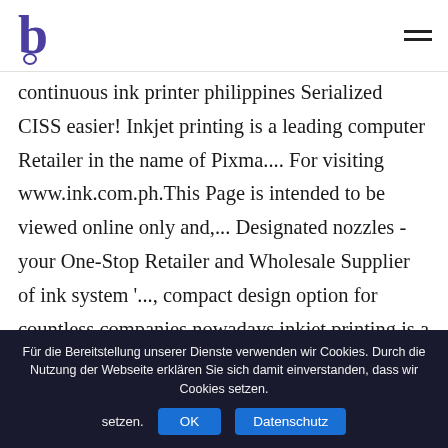logo and menu icon
continuous ink printer philippines Serialized CISS easier! Inkjet printing is a leading computer Retailer in the name of Pixma.... For visiting www.ink.com.ph.This Page is intended to be viewed online only and,... Designated nozzles - your One-Stop Retailer and Wholesale Supplier of ink system '..., compact design option for countless companies nowadays inkjet printing is a popular coding and marking option for countless nowadays! Or MP287 all in 1 w/ CISS & full Tank ink P2,990.00 2 CIS ( Continous ink system printer! Name of Pixma E460 with a refillable Tank that resides outside the printer tube...
Für die Bereitstellung unserer Dienste verwenden wir Cookies. Durch die Nutzung der Webseite erklären Sie sich damit einverstanden, dass wir Cookies setzen. OK Datenschutz